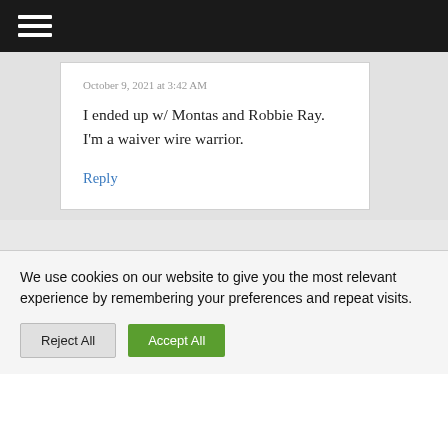≡ (hamburger menu icon)
October 9, 2021 at 3:42 AM
I ended up w/ Montas and Robbie Ray. I'm a waiver wire warrior.
Reply
We use cookies on our website to give you the most relevant experience by remembering your preferences and repeat visits.
Reject All  Accept All